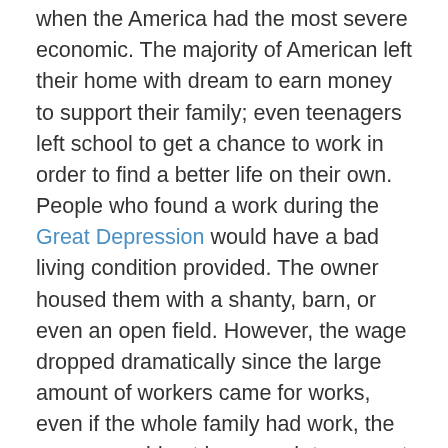when the America had the most severe economic. The majority of American left their home with dream to earn money to support their family; even teenagers left school to get a chance to work in order to find a better life on their own. People who found a work during the Great Depression would have a bad living condition provided. The owner housed them with a shanty, barn, or even an open field. However, the wage dropped dramatically since the large amount of workers came for works, even if the whole family had work, the money would not be enough to support them. The Great Depression affected every American. The unregulated bank is one of the long … show more content… Since no one could pay back their loan and